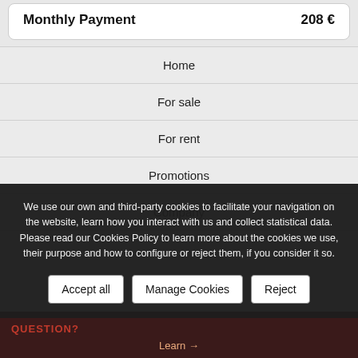| Monthly Payment | 208 € |
| --- | --- |
Home
For sale
For rent
Promotions
Company
We use our own and third-party cookies to facilitate your navigation on the website, learn how you interact with us and collect statistical data. Please read our Cookies Policy to learn more about the cookies we use, their purpose and how to configure or reject them, if you consider it so.
Accept all
Manage Cookies
Reject
QUESTION?
Learn →